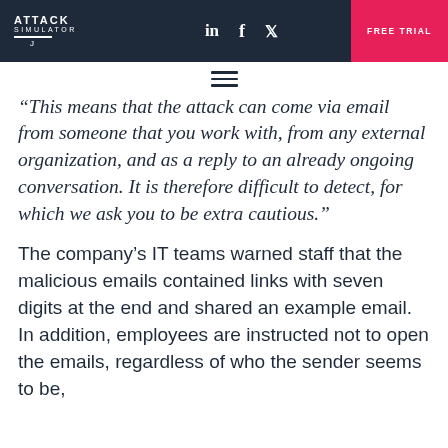ATTACK SIMULATOR | in f [twitter] | FREE TRIAL
“This means that the attack can come via email from someone that you work with, from any external organization, and as a reply to an already ongoing conversation. It is therefore difficult to detect, for which we ask you to be extra cautious.”
The company’s IT teams warned staff that the malicious emails contained links with seven digits at the end and shared an example email. In addition, employees are instructed not to open the emails, regardless of who the sender seems to be,